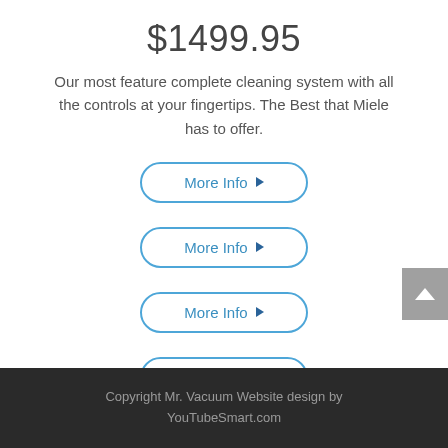$1499.95
Our most feature complete cleaning system with all the controls at your fingertips.  The Best that Miele has to offer.
More Info ▶
More Info ▶
More Info ▶
More Info ▶
Copyright Mr. Vacuum Website design by YouTubeSmart.com